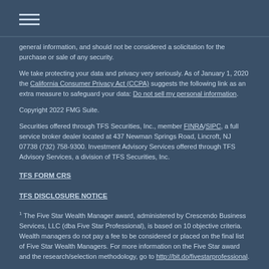[hamburger menu icon]
general information, and should not be considered a solicitation for the purchase or sale of any security.
We take protecting your data and privacy very seriously. As of January 1, 2020 the California Consumer Privacy Act (CCPA) suggests the following link as an extra measure to safeguard your data: Do not sell my personal information.
Copyright 2022 FMG Suite.
Securities offered through TFS Securities, Inc., member FINRA/SIPC, a full service broker dealer located at 437 Newman Springs Road, Lincroft, NJ 07738 (732) 758-9300. Investment Advisory Services offered through TFS Advisory Services, a division of TFS Securities, Inc.
TFS FORM CRS
TFS DISCLOSURE NOTICE
1 The Five Star Wealth Manager award, administered by Crescendo Business Services, LLC (dba Five Star Professional), is based on 10 objective criteria. Wealth managers do not pay a fee to be considered or placed on the final list of Five Star Wealth Managers. For more information on the Five Star award and the research/selection methodology, go to http://bit.do/fivestarprofessional.